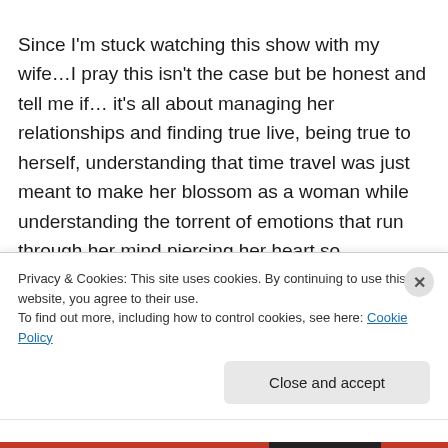Since I'm stuck watching this show with my wife…I pray this isn't the case but be honest and tell me if… it's all about managing her relationships and finding true live, being true to herself, understanding that time travel was just meant to make her blossom as a woman while understanding the torrent of emotions that run through her mind piercing her heart so thoroughly that she must abandon her love for Frank while simultaneously embracing what she
Privacy & Cookies: This site uses cookies. By continuing to use this website, you agree to their use. To find out more, including how to control cookies, see here: Cookie Policy
Close and accept